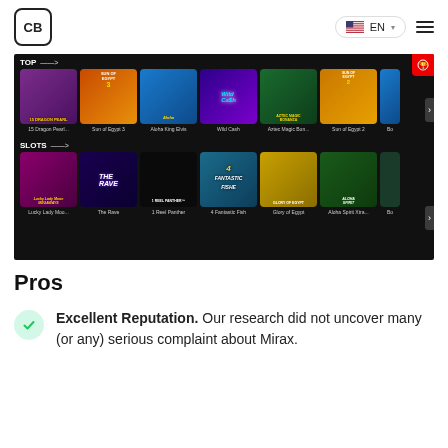CB | EN
[Figure (screenshot): Casino website screenshot showing TOP games row (15 Dragon Pearl, Sun of Egypt 3, Aloha King Elvis, Wild Cash, Aztec Magic Bon..., Sun of Egypt 2) and SLOTS row (Lucky Lady Moo..., The Rave, 1 Reel Panther, 4 Fantastic Fish, Glory of Egypt, Aloha Spirit Xtra...)]
Pros
Excellent Reputation. Our research did not uncover many (or any) serious complaint about Mirax.